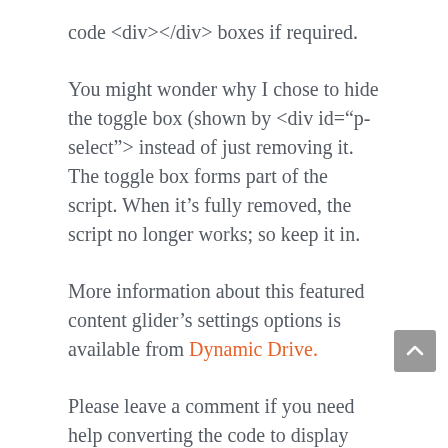code <div></div> boxes if required.
You might wonder why I chose to hide the toggle box (shown by <div id="p-select"> instead of just removing it. The toggle box forms part of the script. When it’s fully removed, the script no longer works; so keep it in.
More information about this featured content glider’s settings options is available from Dynamic Drive.
Please leave a comment if you need help converting the code to display your adverts. I’ll do my best to help you.